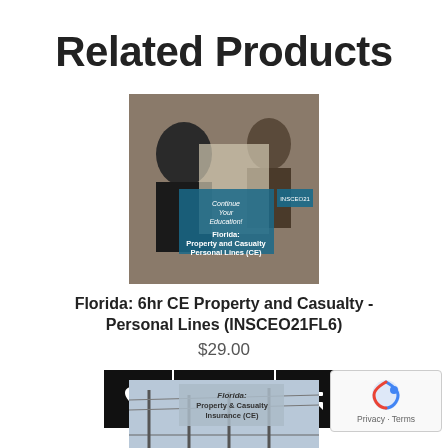Related Products
[Figure (photo): Product thumbnail image for Florida Property and Casualty Personal Lines CE course showing people reviewing documents]
Florida: 6hr CE Property and Casualty - Personal Lines (INSCEO21FL6)
$29.00
[Figure (screenshot): Three buttons: heart/wishlist button, ENROLL button, and compare button, all in black]
[Figure (photo): Second product thumbnail image for Florida Property and Casualty Insurance CE course, partially visible at bottom]
[Figure (screenshot): reCAPTCHA badge with Privacy and Terms links in bottom right corner]